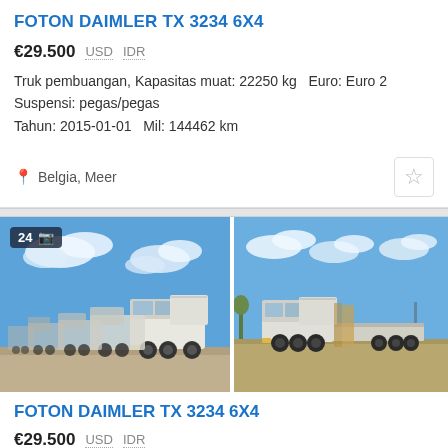FOTON DAIMLER TX 3234 6X4
€29.500  USD  IDR
Truk pembuangan, Kapasitas muat: 22250 kg  Euro: Euro 2
Suspensi: pegas/pegas
Tahun: 2015-01-01  Mil: 144462 km
Belgia, Meer
[Figure (photo): Two photos of white Foton Daimler dump trucks parked in a yard against a blue sky. Left photo shows a row of multiple trucks, badge shows 24 photos. Right photo shows a single truck with trailer on a flat area.]
FOTON DAIMLER TX 3234 6X4
€29.500  USD  IDR
Truk pembuangan, Kapasitas muat: 22250 kg  Euro: Euro 2